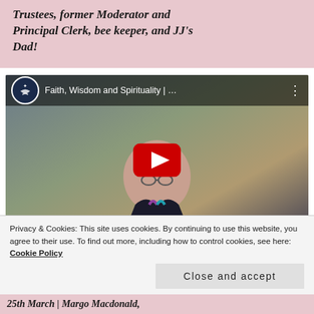Trustees, former Moderator and Principal Clerk, bee keeper, and JJ's Dad!
[Figure (screenshot): YouTube video thumbnail showing a bald man in a dark Scotland rugby shirt. Video title reads 'Faith, Wisdom and Spirituality | ...' with a Church of Scotland channel logo. A large red YouTube play button is overlaid in the center.]
Privacy & Cookies: This site uses cookies. By continuing to use this website, you agree to their use. To find out more, including how to control cookies, see here: Cookie Policy
Close and accept
25th March | Margo Macdonald,